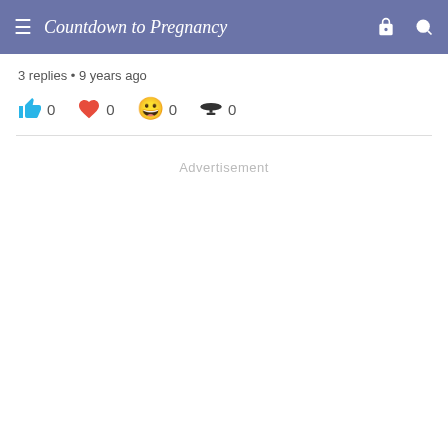Countdown to Pregnancy
3 replies • 9 years ago
👍 0  ❤️ 0  😁 0  🎓 0
Advertisement